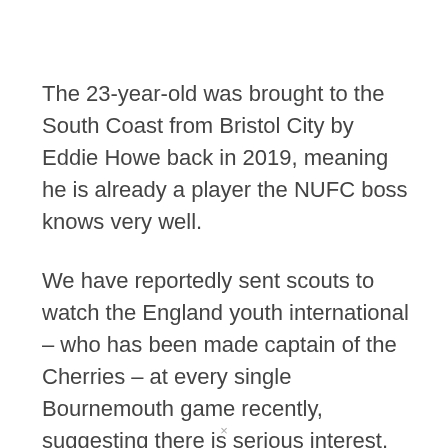The 23-year-old was brought to the South Coast from Bristol City by Eddie Howe back in 2019, meaning he is already a player the NUFC boss knows very well.
We have reportedly sent scouts to watch the England youth international – who has been made captain of the Cherries – at every single Bournemouth game recently, suggesting there is serious interest.